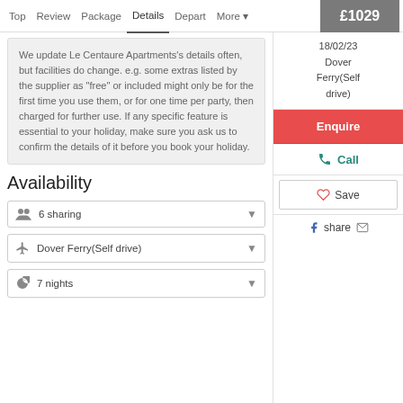Top  Review  Package  Details  Depart  More  £1029
We update Le Centaure Apartments's details often, but facilities do change. e.g. some extras listed by the supplier as "free" or included might only be for the first time you use them, or for one time per party, then charged for further use. If any specific feature is essential to your holiday, make sure you ask us to confirm the details of it before you book your holiday.
18/02/23 Dover Ferry(Self drive)
Enquire
Call
Save
share
Availability
6 sharing
Dover Ferry(Self drive)
7 nights